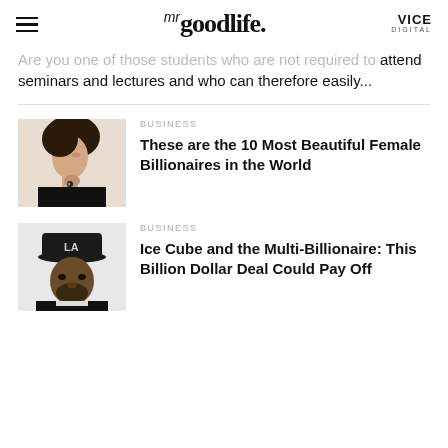mr goodlife. VICE DIGITAL
Are you one of those students who are not required to attend seminars and lectures and who can therefore easily...
[Figure (photo): Portrait photo of a woman in profile view with dark hair pulled back, wearing black clothing, hand near face with a ring visible.]
BUSINESS
These are the 10 Most Beautiful Female Billionaires in the World
[Figure (photo): Portrait photo of Ice Cube wearing a black LA Dodgers cap and black clothing, looking directly at camera.]
BUSINESS
Ice Cube and the Multi-Billionaire: This Billion Dollar Deal Could Pay Off